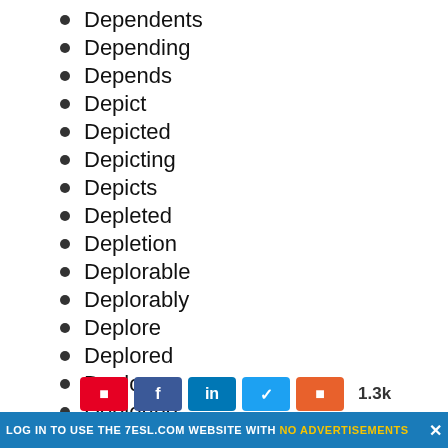Dependents
Depending
Depends
Depict
Depicted
Depicting
Depicts
Depleted
Depletion
Deplorable
Deplorably
Deplore
Deplored
Deplores
Deploring
Dep…
LOG IN TO USE THE 7ESL.COM WEBSITE WITH NO ADVERTISEMENTS